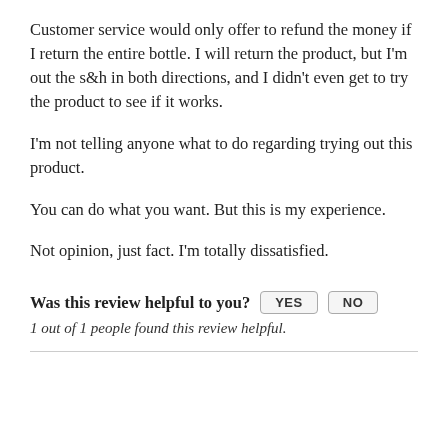Customer service would only offer to refund the money if I return the entire bottle. I will return the product, but I'm out the s&h in both directions, and I didn't even get to try the product to see if it works.
I'm not telling anyone what to do regarding trying out this product.
You can do what you want. But this is my experience.
Not opinion, just fact. I'm totally dissatisfied.
Was this review helpful to you? YES NO
1 out of 1 people found this review helpful.